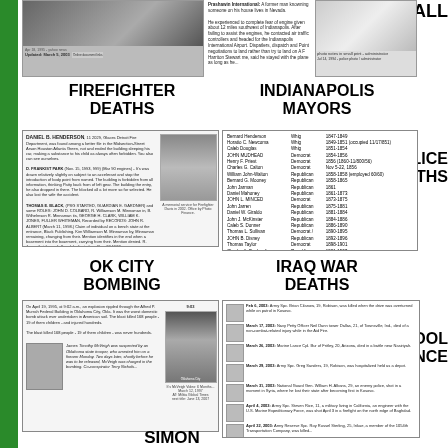MALL
[Figure (photo): News article thumbnail with photo of street scene, Updated March 5, 2003]
Prashawin International: A former man knowning someone on his house lives in Nevada. He experienced to complete fear of engine given about 12 miles southwest of Indianapolis. After failing to assist the engines, he contacted air traffic controllers and headed for the Indianapolis International Airport.
[Figure (photo): Right article photo - police/administrator photo, Jul 14, 1994]
FIREFIGHTER DEATHS
INDIANAPOLIS MAYORS
POLICE DEATHS
[Figure (photo): Firefighter Deaths article with photo of firefighter memorial service 2002]
| Name | Party | Term |
| --- | --- | --- |
| Bernard Henderson | Whig | 1847-1849 |
| Horatio C. Newcoma | Whig | 1849-1851 (occupied 11/17/851) |
| Caleb Douglas | Whig | 1851-1854 |
| JOHN MUDHEAD | Democrat | 1854-1856 |
| Henry F. Priest | Democrat | 1856 (1860-11/800/56) |
| Charles G. Calton | Democrat | Nov 5-22, 1856 |
| William John-Walton | Republican | 1858-1858 (employed 60/60) |
| Bernard G. Mooney | Republican | 1858-1865 |
| John Jarman | Republican | 1861 |
| Daniel Mahoney | Republican | 1861-1873 |
| JOHN L. MINCED | Democrat | 1873-1875 |
| John Jarren | Republican | 1875-1881 |
| Daniel W. Giraldo | Republican | 1881-1884 |
| John J. McKinster | Republican | 1884-1886 |
| Caleb S. Donner | Republican | 1886-1890 |
| Thomas L. Sullivan | Democrat / | 1890-1895 |
| JOHN B. Disney | Republican | 1892-1896 |
| Thomas Taylor | Democrat | 1898-1901 |
| Charles A. Bookwalter | Republican | 1901-1903 |
| JOHN W. HOLTZMAN | Democrat | 1903-1906 |
| Charles A. Bookwalter | Republican | 1906-1909 |
OK CITY BOMBING
IRAQ WAR DEATHS
SCHOOL VIOLENCE
[Figure (photo): Oklahoma City Bombing article with photo of Timothy McVeigh and clock showing 9:03, Oklahoma City bomb blast image]
[Figure (photo): Iraq War Deaths article with multiple small soldier portraits and news entries from Feb-Apr 2003]
SIMON